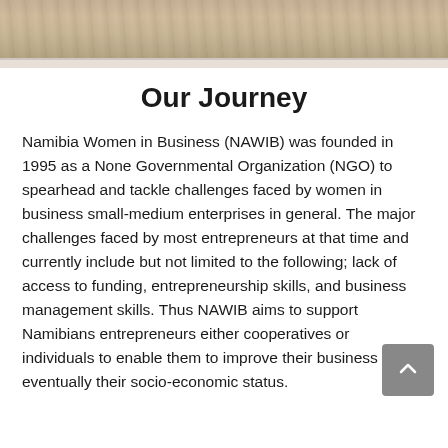[Figure (photo): Partial photo of sandy/rocky terrain with warm earth tones, cropped at the top of the page]
Our Journey
Namibia Women in Business (NAWIB) was founded in 1995 as a None Governmental Organization (NGO) to spearhead and tackle challenges faced by women in business small-medium enterprises in general. The major challenges faced by most entrepreneurs at that time and currently include but not limited to the following; lack of access to funding, entrepreneurship skills, and business management skills. Thus NAWIB aims to support Namibians entrepreneurs either cooperatives or individuals to enable them to improve their business thus eventually their socio-economic status.